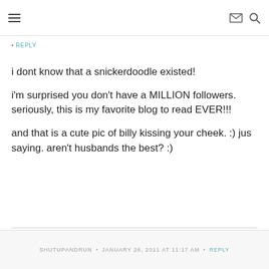≡  ✉ 🔍
REPLY
i dont know that a snickerdoodle existed!

i'm surprised you don't have a MILLION followers. seriously, this is my favorite blog to read EVER!!!

and that is a cute pic of billy kissing your cheek. :) jus saying. aren't husbands the best? :)
SHUTUPANDRUN • JANUARY 26, 2011 AT 11:17 AM • REPLY